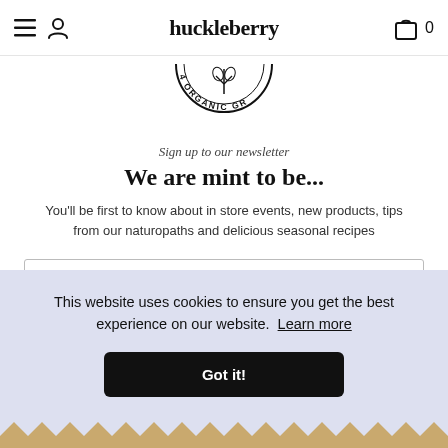huckleberry
[Figure (logo): Circular stamp/badge logo with text '4 ORGANIC GR' visible around the edge]
Sign up to our newsletter
We are mint to be...
You'll be first to know about in store events, new products, tips from our naturopaths and delicious seasonal recipes
Enter your email address
This website uses cookies to ensure you get the best experience on our website.  Learn more
Got it!